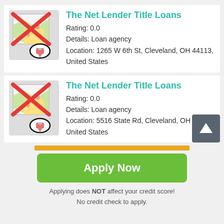[Figure (screenshot): Map icon with red X cross overlay and a pencil/pen icon circled in black, indicating unavailable map location]
The Net Lender Title Loans
Rating: 0.0
Details: Loan agency
Location: 1265 W 6th St, Cleveland, OH 44113, United States
[Figure (screenshot): Map icon with red X cross overlay and a pencil/pen icon circled in black, indicating unavailable map location]
The Net Lender Title Loans
Rating: 0.0
Details: Loan agency
Location: 5516 State Rd, Cleveland, OH 44134, United States
[Figure (other): Dark grey square button with white upward arrow, scroll-to-top button]
Apply Now
Applying does NOT affect your credit score!
No credit check to apply.